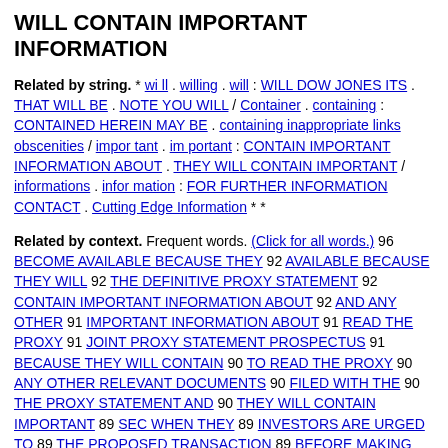WILL CONTAIN IMPORTANT INFORMATION
Related by string. * wi ll . willing . will : WILL DOW JONES ITS . THAT WILL BE . NOTE YOU WILL / Container . containing : CONTAINED HEREIN MAY BE . containing inappropriate links obscenities / impor tant . im portant : CONTAIN IMPORTANT INFORMATION ABOUT . THEY WILL CONTAIN IMPORTANT / informations . infor mation : FOR FURTHER INFORMATION CONTACT . Cutting Edge Information * *
Related by context. Frequent words. (Click for all words.) 96 BECOME AVAILABLE BECAUSE THEY 92 AVAILABLE BECAUSE THEY WILL 92 THE DEFINITIVE PROXY STATEMENT 92 CONTAIN IMPORTANT INFORMATION ABOUT 92 AND ANY OTHER 91 IMPORTANT INFORMATION ABOUT 91 READ THE PROXY 91 JOINT PROXY STATEMENT PROSPECTUS 91 BECAUSE THEY WILL CONTAIN 90 TO READ THE PROXY 90 ANY OTHER RELEVANT DOCUMENTS 90 FILED WITH THE 90 THE PROXY STATEMENT AND 90 THEY WILL CONTAIN IMPORTANT 89 SEC WHEN THEY 89 INVESTORS ARE URGED TO 89 THE PROPOSED TRANSACTION 89 BEFORE MAKING ANY VOTING 89 THE REGISTRATION